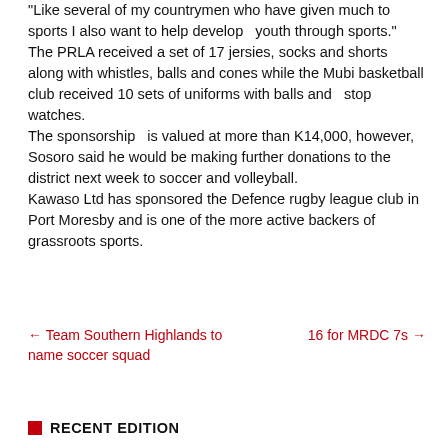"Like several of my countrymen who have given much to sports I also want to help develop  youth through sports." The PRLA received a set of 17 jersies, socks and shorts along with whistles, balls and cones while the Mubi basketball club received 10 sets of uniforms with balls and  stop watches. The sponsorship  is valued at more than K14,000, however, Sosoro said he would be making further donations to the district next week to soccer and volleyball. Kawaso Ltd has sponsored the Defence rugby league club in Port Moresby and is one of the more active backers of grassroots sports.
← Team Southern Highlands to name soccer squad
16 for MRDC 7s →
RECENT EDITION